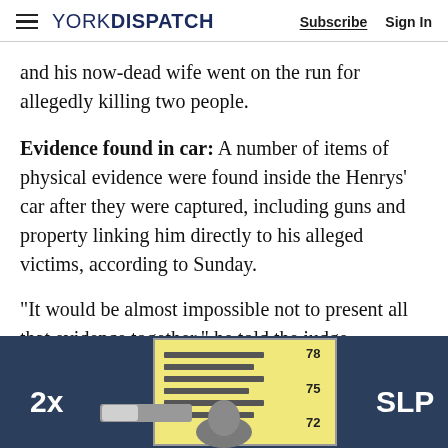YORK DISPATCH | Subscribe | Sign In
and his now-dead wife went on the run for allegedly killing two people.
Evidence found in car: A number of items of physical evidence were found inside the Henrys' car after they were captured, including guns and property linking him directly to his alleged victims, according to Sunday.
"It would be almost impossible not to present all that evidence together," he told the judge.
[Figure (screenshot): Video player bar showing 2x speed label, a slider control, an ID card graphic with horizontal lines and numbers 78, 75, 72, a person silhouette, and SLP label on dark blue background.]